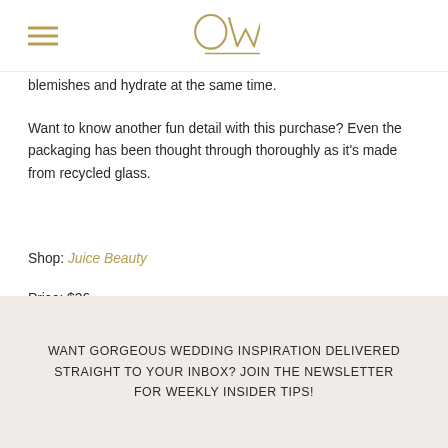OW (logo with hamburger menu)
blemishes and hydrate at the same time.
Want to know another fun detail with this purchase? Even the packaging has been thought through thoroughly as it's made from recycled glass.
Shop: Juice Beauty
Price: $36
WANT GORGEOUS WEDDING INSPIRATION DELIVERED STRAIGHT TO YOUR INBOX? JOIN THE NEWSLETTER FOR WEEKLY INSIDER TIPS!